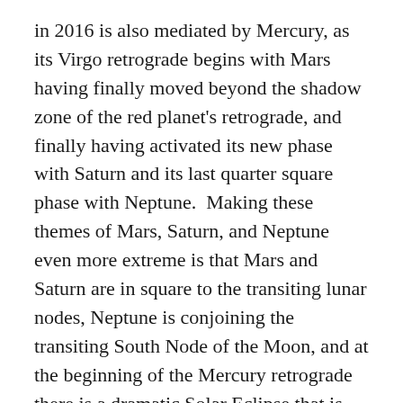in 2016 is also mediated by Mercury, as its Virgo retrograde begins with Mars having finally moved beyond the shadow zone of the red planet's retrograde, and finally having activated its new phase with Saturn and its last quarter square phase with Neptune.  Making these themes of Mars, Saturn, and Neptune even more extreme is that Mars and Saturn are in square to the transiting lunar nodes, Neptune is conjoining the transiting South Node of the Moon, and at the beginning of the Mercury retrograde there is a dramatic Solar Eclipse that is opposite Neptune, square to Saturn and Mars, and conjunct the transiting North Node of the Moon.  Since the Mercury retrograde begins with a Solar Eclipse, there is a deeply mysterious element to the